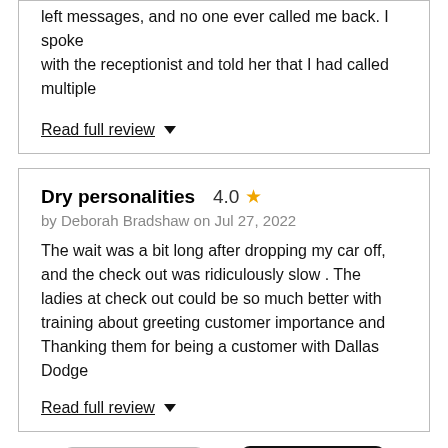left messages, and no one ever called me back. I spoke with the receptionist and told her that I had called multiple
Read full review ▼
Dry personalities  4.0 ★
by Deborah Bradshaw on Jul 27, 2022
The wait was a bit long after dropping my car off, and the check out was ridiculously slow . The ladies at check out could be so much better with training about greeting customer importance and Thanking them for being a customer with Dallas Dodge
Read full review ▼
PREV
NEXT